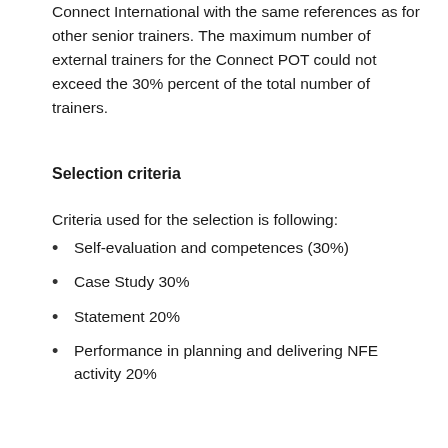Connect International with the same references as for other senior trainers. The maximum number of external trainers for the Connect POT could not exceed the 30% percent of the total number of trainers.
Selection criteria
Criteria used for the selection is following:
Self-evaluation and competences (30%)
Case Study 30%
Statement 20%
Performance in planning and delivering NFE activity 20%